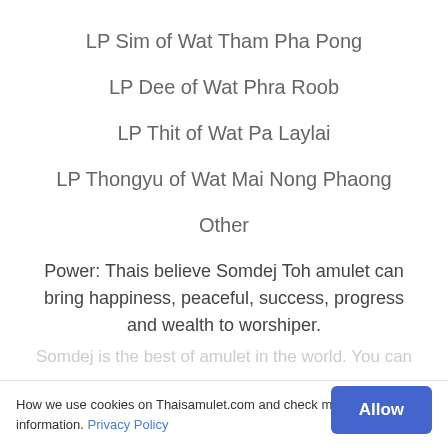LP Sim of Wat Tham Pha Pong
LP Dee of Wat Phra Roob
LP Thit of Wat Pa Laylai
LP Thongyu of Wat Mai Nong Phaong
Other
Power: Thais believe Somdej Toh amulet can bring happiness, peaceful, success, progress and wealth to worshiper.
[partially visible/faded text]
How we use cookies on Thaisamulet.com and check more information. Privacy Policy
Allow